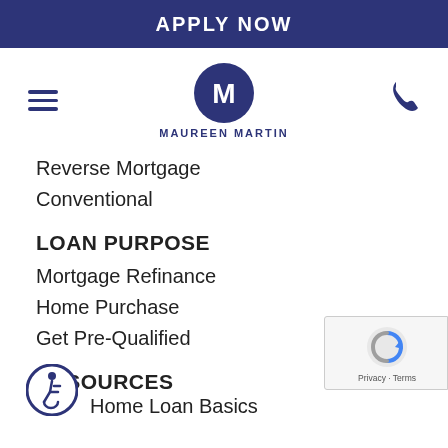APPLY NOW
[Figure (logo): Maureen Martin logo with stylized M in a circle and brand name MAUREEN MARTIN below]
Reverse Mortgage
Conventional
LOAN PURPOSE
Mortgage Refinance
Home Purchase
Get Pre-Qualified
RESOURCES
[Figure (illustration): Accessibility icon — wheelchair user symbol in blue circle]
Home Loan Basics
[Figure (other): reCAPTCHA badge with logo and Privacy · Terms text]